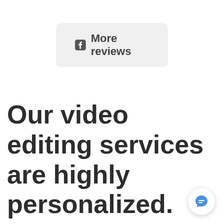[Figure (screenshot): A button with Facebook icon and text 'More reviews' on a light gray rounded rectangle background]
Our video editing services are highly personalized. See what we've done for our clients so far...
[Figure (illustration): Chat bubble icon button in bottom right corner]